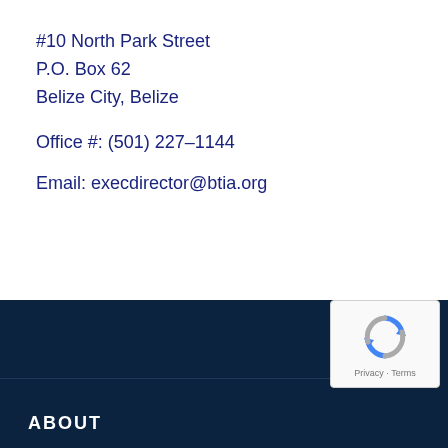#10 North Park Street
P.O. Box 62
Belize City, Belize
Office #: (501) 227–1144
Email: execdirector@btia.org
ABOUT
[Figure (logo): reCAPTCHA badge with recycle-arrow logo and Privacy · Terms text]